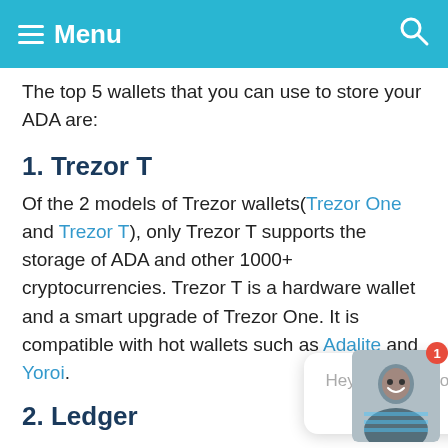Menu
The top 5 wallets that you can use to store your ADA are:
1. Trezor T
Of the 2 models of Trezor wallets(Trezor One and Trezor T), only Trezor T supports the storage of ADA and other 1000+ cryptocurrencies. Trezor T is a hardware wallet and a smart upgrade of Trezor One. It is compatible with hot wallets such as Adalite and Yoroi.
2. Ledger
[Figure (photo): Popup chat widget with text 'Hey! I have an offer for you' and a small avatar photo of a person]
Hey! I have an offer for you